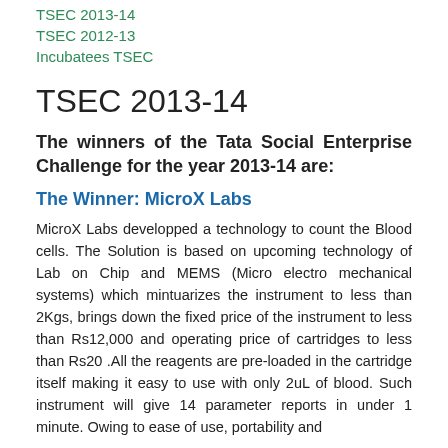TSEC 2013-14
TSEC 2012-13
Incubatees TSEC
TSEC 2013-14
The winners of the Tata Social Enterprise Challenge for the year 2013-14 are:
The Winner: MicroX Labs
MicroX Labs developped a technology to count the Blood cells. The Solution is based on upcoming technology of Lab on Chip and MEMS (Micro electro mechanical systems) which mintuarizes the instrument to less than 2Kgs, brings down the fixed price of the instrument to less than Rs12,000 and operating price of cartridges to less than Rs20 .All the reagents are pre-loaded in the cartridge itself making it easy to use with only 2uL of blood. Such instrument will give 14 parameter reports in under 1 minute. Owing to ease of use, portability and